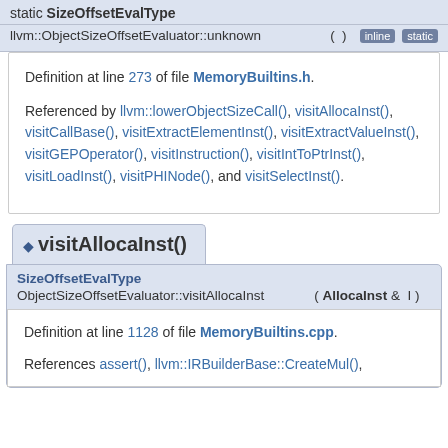static SizeOffsetEvalType
llvm::ObjectSizeOffsetEvaluator::unknown ( ) inline static
Definition at line 273 of file MemoryBuiltins.h.
Referenced by llvm::lowerObjectSizeCall(), visitAllocaInst(), visitCallBase(), visitExtractElementInst(), visitExtractValueInst(), visitGEPOperator(), visitInstruction(), visitIntToPtrInst(), visitLoadInst(), visitPHINode(), and visitSelectInst().
visitAllocaInst()
SizeOffsetEvalType
ObjectSizeOffsetEvaluator::visitAllocaInst ( AllocaInst & I )
Definition at line 1128 of file MemoryBuiltins.cpp.
References assert(), llvm::IRBuilderBase::CreateMul(),